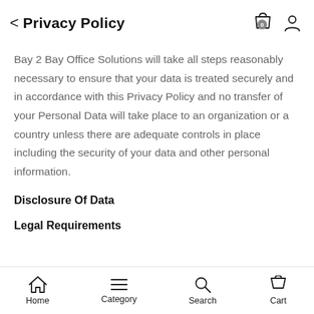Privacy Policy
Bay 2 Bay Office Solutions will take all steps reasonably necessary to ensure that your data is treated securely and in accordance with this Privacy Policy and no transfer of your Personal Data will take place to an organization or a country unless there are adequate controls in place including the security of your data and other personal information.
Disclosure Of Data
Legal Requirements
Home  Category  Search  Cart